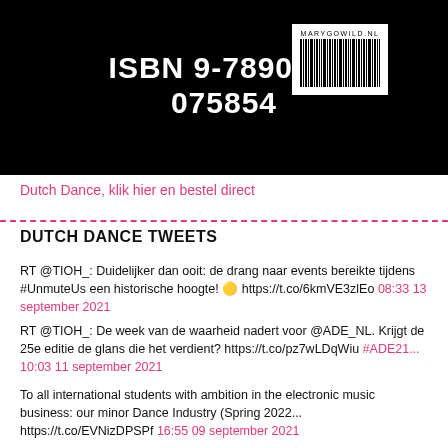[Figure (photo): Book back cover on black background showing ISBN 9-789082-075854 in large white bold text and a barcode with MARYGOWILD.NL label]
Dutch Dance, klik hier en bestel direct
DUTCH DANCE TWEETS
RT @TIOH_: Duidelijker dan ooit: de drang naar events bereikte tijdens #UnmuteUs een historische hoogte! 🟡 https://t.co/6kmVE3zlEo 08:33 13 september 2021
RT @TIOH_: De week van de waarheid nadert voor @ADE_NL. Krijgt de 25e editie de glans die het verdient? https://t.co/pz7wLDqWiu #ADE21... 10:03 11 september 2021
To all international students with ambition in the electronic music business: our minor Dance Industry (Spring 2022... https://t.co/EVNizDPSPf 16:55 09 september 2021